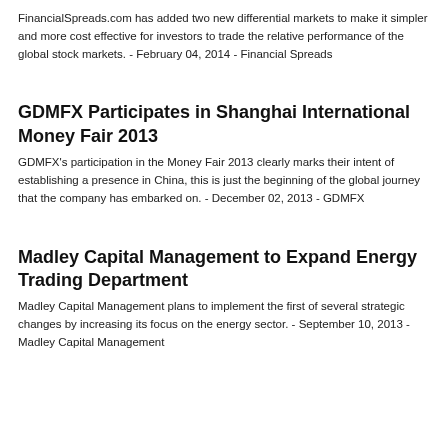FinancialSpreads.com has added two new differential markets to make it simpler and more cost effective for investors to trade the relative performance of the global stock markets. - February 04, 2014 - Financial Spreads
GDMFX Participates in Shanghai International Money Fair 2013
GDMFX's participation in the Money Fair 2013 clearly marks their intent of establishing a presence in China, this is just the beginning of the global journey that the company has embarked on. - December 02, 2013 - GDMFX
Madley Capital Management to Expand Energy Trading Department
Madley Capital Management plans to implement the first of several strategic changes by increasing its focus on the energy sector. - September 10, 2013 - Madley Capital Management